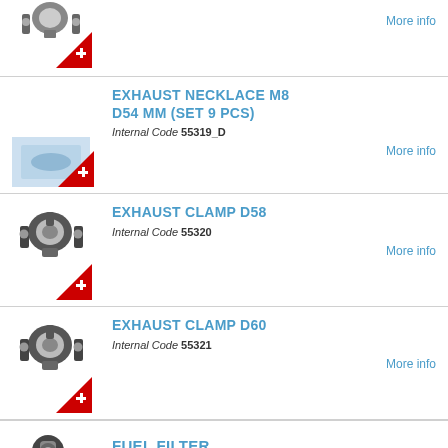[Figure (photo): Partial view of an exhaust clamp product with Swiss flag badge, top of page]
More info
EXHAUST NECKLACE M8 D54 MM (SET 9 PCS)
Internal Code 55319_D
More info
[Figure (photo): Exhaust clamp D58 product image with Swiss flag badge]
EXHAUST CLAMP D58
Internal Code 55320
More info
[Figure (photo): Exhaust clamp D60 product image with Swiss flag badge]
EXHAUST CLAMP D60
Internal Code 55321
More info
FUEL FILTER
[Figure (photo): Partial view of fuel filter product image, bottom of page]